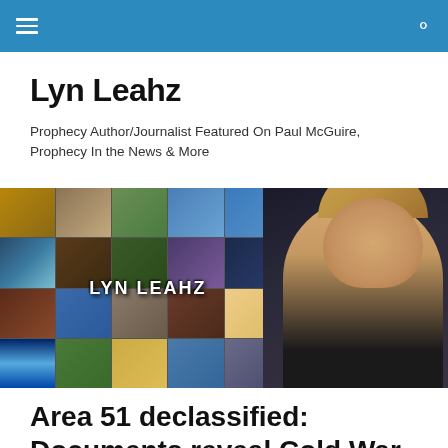Lyn Leahz – navigation header
Lyn Leahz
Prophecy Author/Journalist Featured On Paul McGuire, Prophecy In the News & More
[Figure (photo): Lyn Leahz branded banner image composed of a mosaic of news/disaster/prophecy images with a woman (Lyn Leahz) featured prominently on the right side and the text LYN LEAHZ overlaid in white]
Area 51 declassified: Documents reveal Cold War